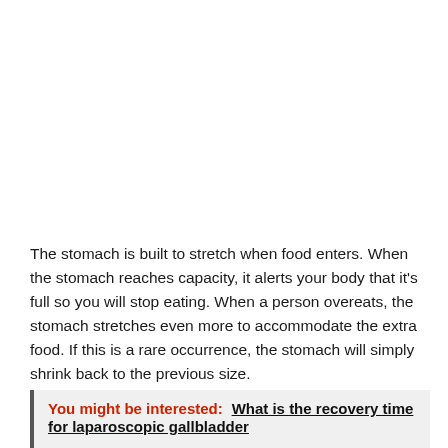The stomach is built to stretch when food enters. When the stomach reaches capacity, it alerts your body that it's full so you will stop eating. When a person overeats, the stomach stretches even more to accommodate the extra food. If this is a rare occurrence, the stomach will simply shrink back to the previous size.
You might be interested:  What is the recovery time for laparoscopic gallbladder